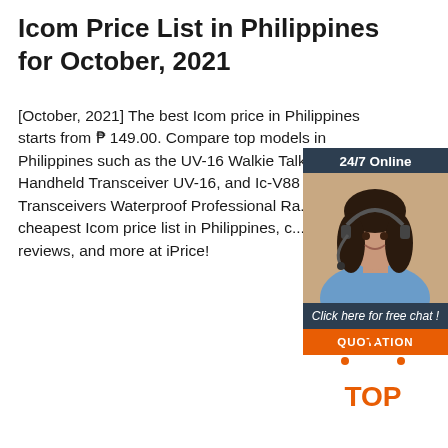Icom Price List in Philippines for October, 2021
[October, 2021] The best Icom price in Philippines starts from ₱ 149.00. Compare top models in Philippines such as the UV-16 Walkie Talkie, Handheld Transceiver UV-16, and Ic-V88 Transceivers Waterproof Professional Ra... cheapest Icom price list in Philippines, c... specs, reviews, and more at iPrice!
[Figure (photo): Advertisement banner with woman wearing headset, '24/7 Online' header, 'Click here for free chat!' text, and orange QUOTATION button on dark navy background]
[Figure (logo): Orange 'TOP' logo with dotted triangle above the text]